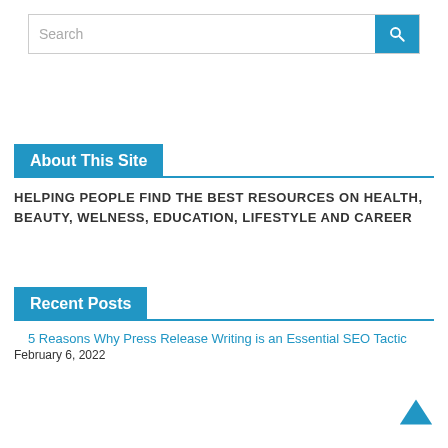[Figure (screenshot): Search bar with text input field and blue search button with magnifying glass icon]
About This Site
HELPING PEOPLE FIND THE BEST RESOURCES ON HEALTH, BEAUTY, WELNESS, EDUCATION, LIFESTYLE AND CAREER
Recent Posts
5 Reasons Why Press Release Writing is an Essential SEO Tactic
February 6, 2022